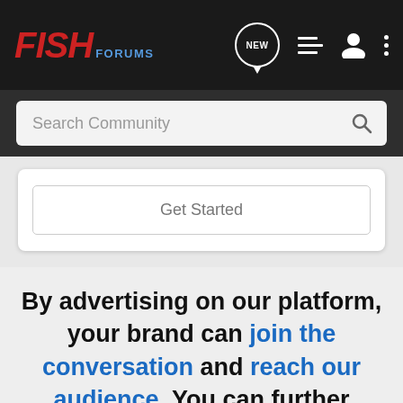FISH FORUMS
Search Community
Get Started
By advertising on our platform, your brand can join the conversation and reach our audience. You can further engage with your target